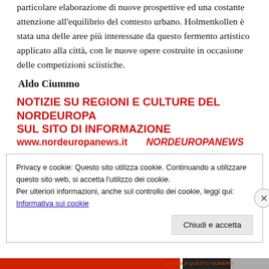particolare elaborazione di nuove prospettive ed una costante attenzione all'equilibrio del contesto urbano. Holmenkollen è stata una delle aree più interessate da questo fermento artistico applicato alla città, con le nuove opere costruite in occasione delle competizioni sciistiche.
Aldo Ciummo
NOTIZIE SU REGIONI E CULTURE DEL NORDEUROPA SUL SITO DI INFORMAZIONE www.nordeuropanews.it      NORDEUROPANEWS
Privacy e cookie: Questo sito utilizza cookie. Continuando a utilizzare questo sito web, si accetta l'utilizzo dei cookie.
Per ulteriori informazioni, anche sul controllo dei cookie, leggi qui:
Informativa sui cookie
Chiudi e accetta